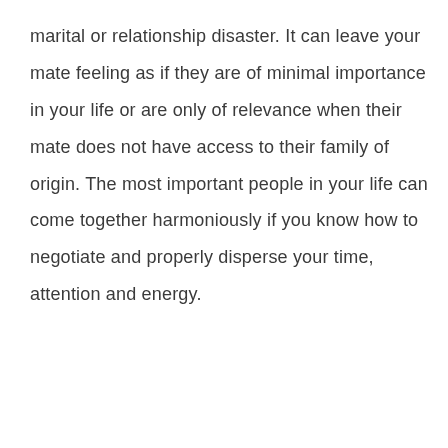marital or relationship disaster. It can leave your mate feeling as if they are of minimal importance in your life or are only of relevance when their mate does not have access to their family of origin. The most important people in your life can come together harmoniously if you know how to negotiate and properly disperse your time, attention and energy.